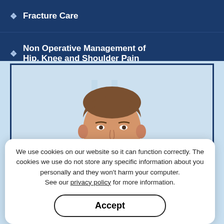Fracture Care
Non Operative Management of Hip, Knee and Shoulder Pain
[Figure (photo): Professional headshot of a male orthopedic surgeon wearing a grey suit and light blue shirt, smiling, against a light blue background. Overlaid text reads 'Orthopedic Surgeon', 'Hip and Knee Specialist', and a 'View Profile' button.]
We use cookies on our website so it can function correctly. The cookies we use do not store any specific information about you personally and they won’t harm your computer.
See our privacy policy for more information.
Accept